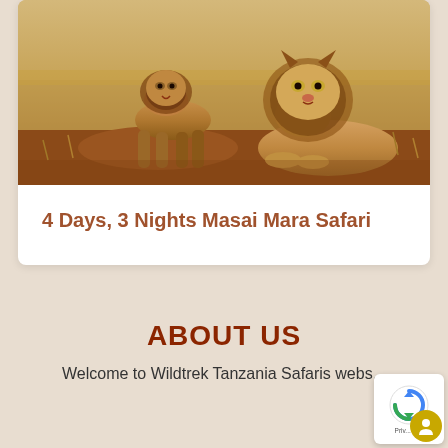[Figure (photo): Two lions in savanna grassland — one standing facing camera (left), one resting (right) — on reddish-brown earth with dry golden grass background.]
4 Days, 3 Nights Masai Mara Safari
ABOUT US
Welcome to Wildtrek Tanzania Safaris webs...